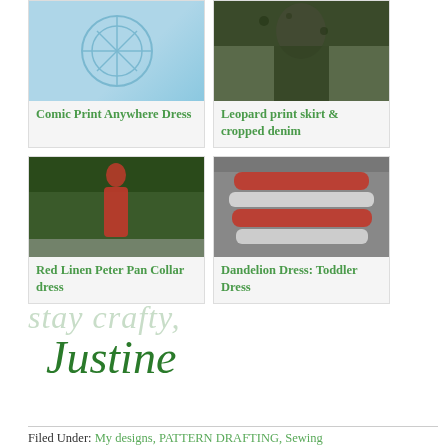[Figure (photo): Comic Print Anywhere Dress - light blue illustration graphic]
Comic Print Anywhere Dress
[Figure (photo): Leopard print skirt and cropped denim - woman standing outdoors]
Leopard print skirt & cropped denim
[Figure (photo): Red Linen Peter Pan Collar dress - girl in red dress outdoors]
Red Linen Peter Pan Collar dress
[Figure (photo): Dandelion Dress: Toddler Dress - red and white ruffled dress]
Dandelion Dress: Toddler Dress
stay crafty,
Justine
Filed Under: My designs, PATTERN DRAFTING, Sewing